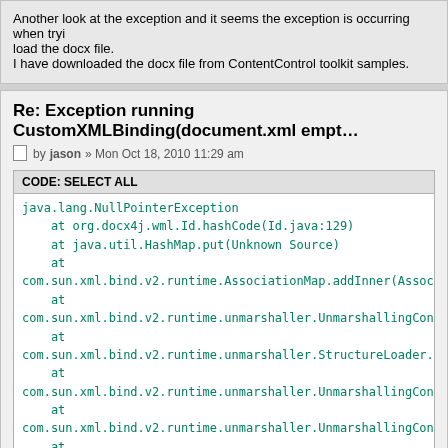Another look at the exception and it seems the exception is occurring when trying to load the docx file.
I have downloaded the docx file from ContentControl toolkit samples.
Re: Exception running CustomXMLBinding(document.xml empt…
by jason » Mon Oct 18, 2010 11:29 am
[Figure (screenshot): Code block with header 'CODE: SELECT ALL' containing a Java stack trace with NullPointerException]
Hi, I can reproduce the error when I use JAXB 2.1.2 via